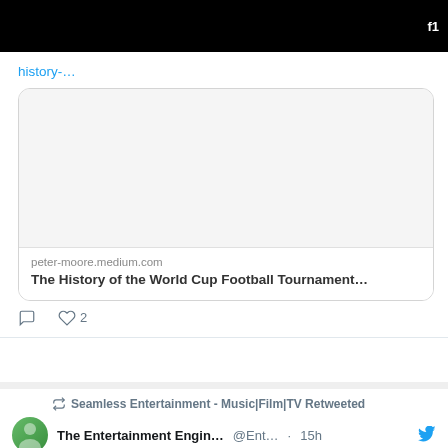history-…
[Figure (screenshot): Preview card for article on peter-moore.medium.com showing blank image area with domain and title]
peter-moore.medium.com
The History of the World Cup Football Tournament…
♡ 2
Seamless Entertainment - Music|Film|TV Retweeted
The Entertainment Engin… @Ent… · 15h